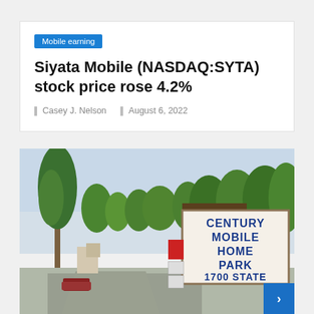Mobile earning
Siyata Mobile (NASDAQ:SYTA) stock price rose 4.2%
Casey J. Nelson   August 6, 2022
[Figure (photo): Outdoor photo of a Century Mobile Home Park sign reading 'CENTURY MOBILE HOME PARK 1700 STATE' with trees in the background and a road in the foreground]